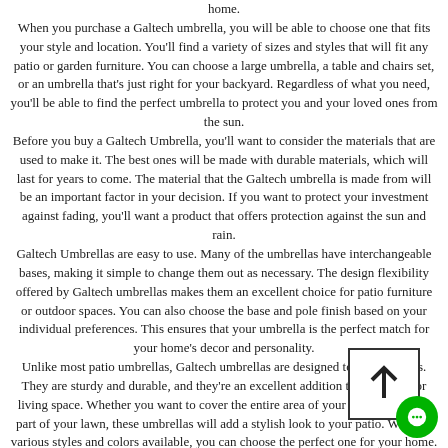home. When you purchase a Galtech umbrella, you will be able to choose one that fits your style and location. You'll find a variety of sizes and styles that will fit any patio or garden furniture. You can choose a large umbrella, a table and chairs set, or an umbrella that's just right for your backyard. Regardless of what you need, you'll be able to find the perfect umbrella to protect you and your loved ones from the sun. Before you buy a Galtech Umbrella, you'll want to consider the materials that are used to make it. The best ones will be made with durable materials, which will last for years to come. The material that the Galtech umbrella is made from will be an important factor in your decision. If you want to protect your investment against fading, you'll want a product that offers protection against the sun and rain. Galtech Umbrellas are easy to use. Many of the umbrellas have interchangeable bases, making it simple to change them out as necessary. The design flexibility offered by Galtech umbrellas makes them an excellent choice for patio furniture or outdoor spaces. You can also choose the base and pole finish based on your individual preferences. This ensures that your umbrella is the perfect match for your home's decor and personality. Unlike most patio umbrellas, Galtech umbrellas are designed to last for years. They are sturdy and durable, and they're an excellent addition to your outdoor living space. Whether you want to cover the entire area of your patio or just the part of your lawn, these umbrellas will add a stylish look to your patio. With the various styles and colors available, you can choose the perfect one for your home.